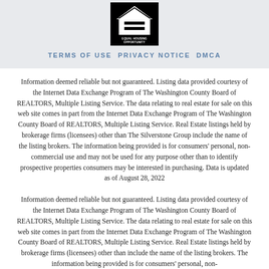[Figure (logo): Equal Housing Opportunity logo — black square with stylized house and equals sign, text 'EQUAL HOUSING OPPORTUNITY' below]
TERMS OF USE PRIVACY NOTICE DMCA
Information deemed reliable but not guaranteed. Listing data provided courtesy of the Internet Data Exchange Program of The Washington County Board of REALTORS, Multiple Listing Service. The data relating to real estate for sale on this web site comes in part from the Internet Data Exchange Program of The Washington County Board of REALTORS, Multiple Listing Service. Real Estate listings held by brokerage firms (licensees) other than The Silverstone Group include the name of the listing brokers. The information being provided is for consumers' personal, non-commercial use and may not be used for any purpose other than to identify prospective properties consumers may be interested in purchasing. Data is updated as of August 28, 2022
Information deemed reliable but not guaranteed. Listing data provided courtesy of the Internet Data Exchange Program of The Washington County Board of REALTORS, Multiple Listing Service. The data relating to real estate for sale on this web site comes in part from the Internet Data Exchange Program of The Washington County Board of REALTORS, Multiple Listing Service. Real Estate listings held by brokerage firms (licensees) other than include the name of the listing brokers. The information being provided is for consumers' personal, non-